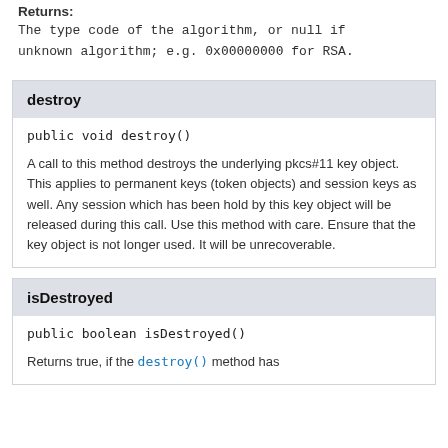Returns:
The type code of the algorithm, or null if unknown algorithm; e.g. 0x00000000 for RSA.
destroy
public void destroy()
A call to this method destroys the underlying pkcs#11 key object. This applies to permanent keys (token objects) and session keys as well. Any session which has been hold by this key object will be released during this call. Use this method with care. Ensure that the key object is not longer used. It will be unrecoverable.
isDestroyed
public boolean isDestroyed()
Returns true, if the destroy() method has